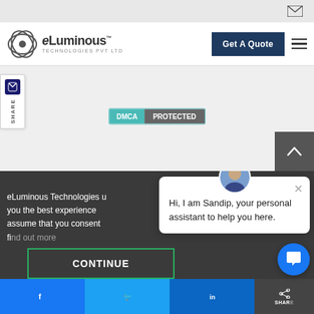eLuminous Technologies Pvt Ltd — Navigation bar with Get A Quote button
[Figure (screenshot): DMCA Protected badge with teal and gray colors]
eLuminous Technologies uses cookies to give you the best experience on our website. We assume that you consent to receive all cookies. find out more
[Figure (infographic): Chat popup: Hi, I am Sandip, your personal assistant to help you here.]
CONTINUE
Social share buttons: Facebook, Twitter, LinkedIn, Share